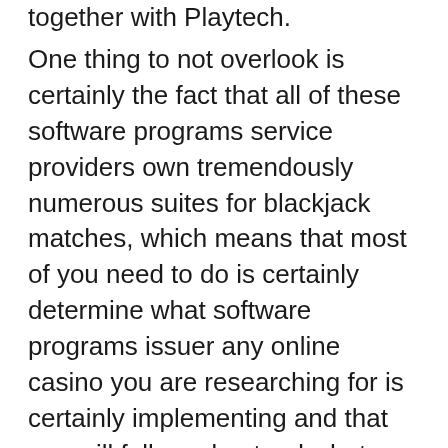together with Playtech.
One thing to not overlook is certainly the fact that all of these software programs service providers own tremendously numerous suites for blackjack matches, which means that most of you need to do is certainly determine what software programs issuer any online casino you are researching for is certainly implementing and that you will fully understand what different types for blackjack they’ll supply and then the superior within the matches their selves. Down the page may be a shorter report about any a couple of important software programs service providers and also numerous blackjack different types everyone supply.